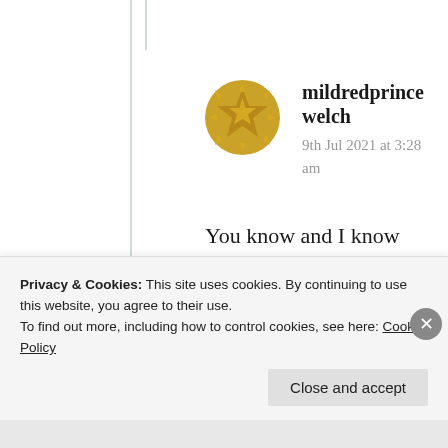[Figure (illustration): Golden/yellow decorative badge avatar icon for user mildredprincewelch]
mildredprince welch
9th Jul 2021 at 3:28 am
You know and I know who your post is talking about=get on your knees
Privacy & Cookies: This site uses cookies. By continuing to use this website, you agree to their use.
To find out more, including how to control cookies, see here: Cookie Policy
Close and accept